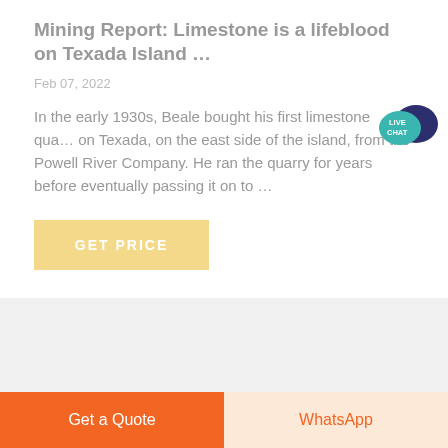Mining Report: Limestone is a lifeblood on Texada Island …
Feb 07, 2022
In the early 1930s, Beale bought his first limestone qua… on Texada, on the east side of the island, from the Powell River Company. He ran the quarry for years before eventually passing it on to …
[Figure (other): GET PRICE button — yellow/tan rounded rectangle with white bold text]
[Figure (infographic): Live Chat speech bubble icon in teal/dark blue with 'LIVE CHAT' text]
[Figure (other): Bottom action bar with two buttons: 'Get a Quote' (orange) and 'WhatsApp' (light peach/orange text)]